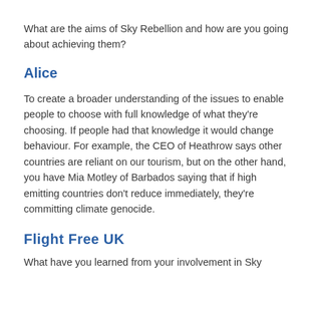What are the aims of Sky Rebellion and how are you going about achieving them?
Alice
To create a broader understanding of the issues to enable people to choose with full knowledge of what they're choosing. If people had that knowledge it would change behaviour. For example, the CEO of Heathrow says other countries are reliant on our tourism, but on the other hand, you have Mia Motley of Barbados saying that if high emitting countries don't reduce immediately, they're committing climate genocide.
Flight Free UK
What have you learned from your involvement in Sky